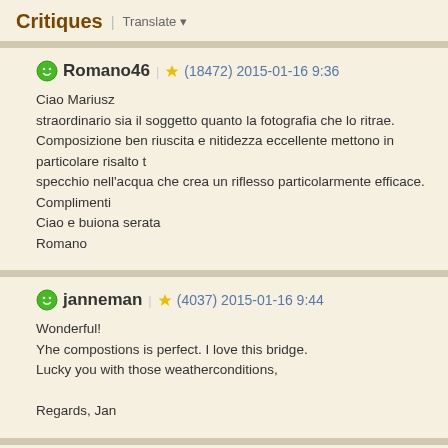Critiques | Translate
Romano46 | (18472) 2015-01-16 9:36

Ciao Mariusz
straordinario sia il soggetto quanto la fotografia che lo ritrae.
Composizione ben riuscita e nitidezza eccellente mettono in particolare risalto t
specchio nell'acqua che crea un riflesso particolarmente efficace.
Complimenti
Ciao e buiona serata
Romano
janneman | (4037) 2015-01-16 9:44

Wonderful!
Yhe compostions is perfect. I love this bridge.
Lucky you with those weatherconditions,

Regards, Jan
lousat (140154) 2015-01-16 9:45

Hi Marius,absolutely beautiful! Great point of view and perfect light to take the fa